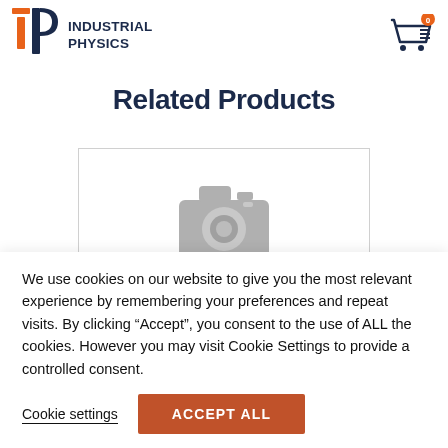[Figure (logo): Industrial Physics logo with orange 'i' and dark blue 'P' icon and text 'INDUSTRIAL PHYSICS']
[Figure (other): Shopping cart icon with orange badge showing '0']
Related Products
[Figure (photo): Placeholder image with a camera icon in grey, inside a bordered card]
We use cookies on our website to give you the most relevant experience by remembering your preferences and repeat visits. By clicking “Accept”, you consent to the use of ALL the cookies. However you may visit Cookie Settings to provide a controlled consent.
Cookie settings
ACCEPT ALL